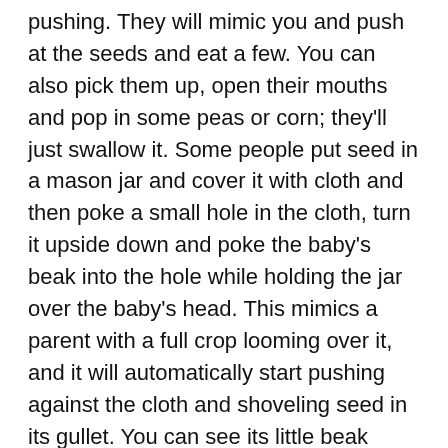pushing. They will mimic you and push at the seeds and eat a few. You can also pick them up, open their mouths and pop in some peas or corn; they'll just swallow it. Some people put seed in a mason jar and cover it with cloth and then poke a small hole in the cloth, turn it upside down and poke the baby's beak into the hole while holding the jar over the baby's head. This mimics a parent with a full crop looming over it, and it will automatically start pushing against the cloth and shoveling seed in its gullet. You can see its little beak working away through the glass. A nice trick if needed. You can also, as always, grab the syringe and supplement with formula if needed until they are on their own.
Q: I have too many babies! How do I get these pigeons to stop?
A: Well, if it's winter time, turn off the light timer and make